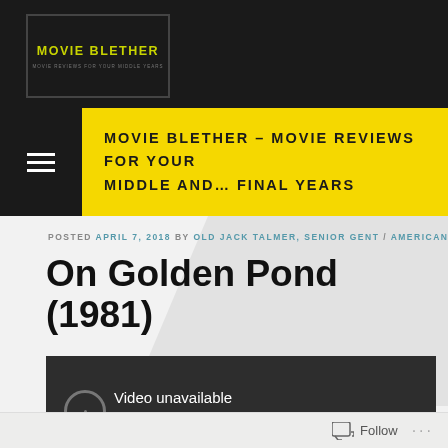[Figure (logo): Movie Blether logo — yellow text on black background in a bordered box]
MOVIE BLETHER – MOVIE REVIEWS FOR YOUR MIDDLE AND … FINAL YEARS
POSTED APRIL 7, 2018 BY OLD JACK TALMER, SENIOR GENT / AMERICAN
On Golden Pond (1981)
[Figure (screenshot): Embedded video player showing 'Video unavailable — This video is no longer available because the']
Follow